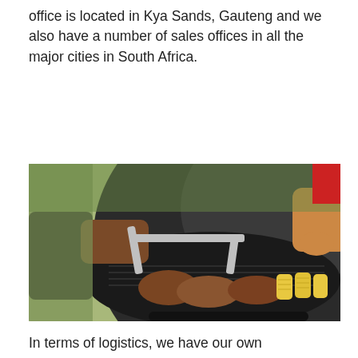office is located in Kya Sands, Gauteng and we also have a number of sales offices in all the major cities in South Africa.
[Figure (photo): Two people using tongs and a spatula to grill meat steaks and corn on a round electric/gas grill outdoors. The grill is dark/black, and food items include several meat cuts and corn pieces arranged on the grill surface.]
In terms of logistics, we have our own